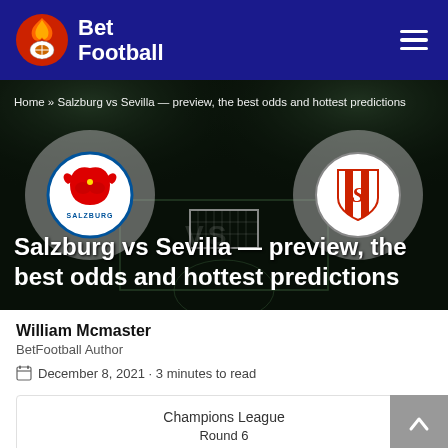Bet Football
[Figure (illustration): Hero banner showing football stadium with Salzburg (Red Bull) and Sevilla club logos in grey circles, dark background]
Home » Salzburg vs Sevilla — preview, the best odds and hottest predictions
Salzburg vs Sevilla — preview, the best odds and hottest predictions
William Mcmaster
BetFootball Author
December 8, 2021 · 3 minutes to read
|  | Match Info |  |
| --- | --- | --- |
| Champions League |  |  |
| Round 6 |  |  |
| [Salzburg logo] | Finished | [Sevilla logo] |